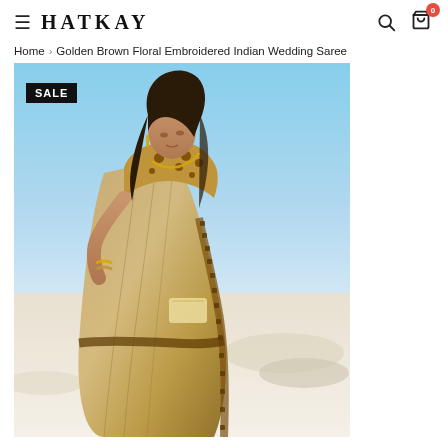HATKAY
Home › Golden Brown Floral Embroidered Indian Wedding Saree
[Figure (photo): Woman wearing a golden brown floral embroidered Indian wedding saree, standing outdoors with a blue sky and white sandy terrain in the background. A SALE badge is visible in the upper left corner of the image.]